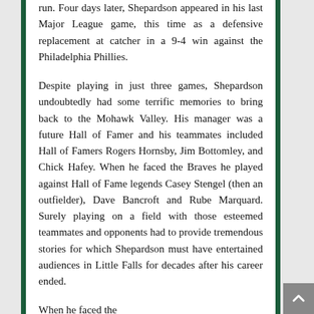run. Four days later, Shepardson appeared in his last Major League game, this time as a defensive replacement at catcher in a 9-4 win against the Philadelphia Phillies.
Despite playing in just three games, Shepardson undoubtedly had some terrific memories to bring back to the Mohawk Valley. His manager was a future Hall of Famer and his teammates included Hall of Famers Rogers Hornsby, Jim Bottomley, and Chick Hafey. When he faced the Braves he played against Hall of Fame legends Casey Stengel (then an outfielder), Dave Bancroft and Rube Marquard. Surely playing on a field with those esteemed teammates and opponents had to provide tremendous stories for which Shepardson must have entertained audiences in Little Falls for decades after his career ended.
When he faced the Braves he...